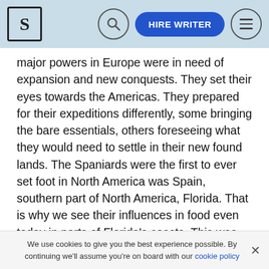S | [search icon] | HIRE WRITER | [menu icon]
major powers in Europe were in need of expansion and new conquests. They set their eyes towards the Americas. They prepared for their expeditions differently, some bringing the bare essentials, others foreseeing what they would need to settle in their new found lands. The Spaniards were the first to ever set foot in North America was Spain, southern part of North America, Florida. That is why we see their influences in food even today in parts of Florida's coasts. This was shortly followed by the British, further north off the coast of the Chesapeake Bay.
When the first ship arrived in Jamestown and a permanent colony was established, the Native Americans were exposed to European cuisines and diseases among
We use cookies to give you the best experience possible. By continuing we'll assume you're on board with our cookie policy